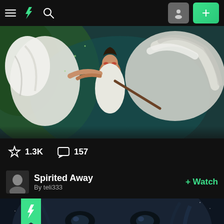[Figure (screenshot): DeviantArt mobile app navigation bar with hamburger menu, green DA lightning bolt logo, search icon, profile button and green plus button]
[Figure (illustration): Fantasy digital artwork showing a young woman in white dress with red face markings, holding a large white creature/wolf, set in a forest with green and teal tones]
1.3K  157
Spirited Away
By teli333
+ Watch
[Figure (illustration): Dark fantasy digital artwork showing a large monstrous face looming over a dark building, in blue-grey tones]